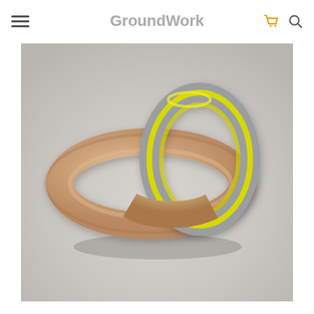GroundWork
[Figure (photo): Two interlocking bangles/bracelets on a light grey background. One bangle is gold/rose-gold metallic, the other has a bright yellow edge with a grey/silver inner band. They are interlinked together.]